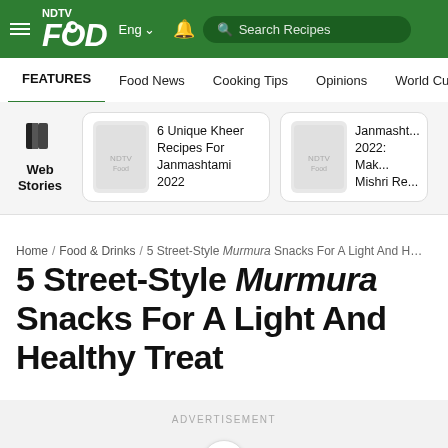NDTV Food | Eng | Search Recipes
FEATURES | Food News | Cooking Tips | Opinions | World Cuisine
Web Stories
6 Unique Kheer Recipes For Janmashtami 2022
Janmashtami 2022: Mak Mishri Re...
Home / Food & Drinks / 5 Street-Style Murmura Snacks For A Light And H...
5 Street-Style Murmura Snacks For A Light And Healthy Treat
ADVERTISEMENT